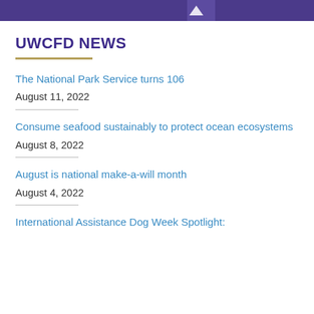[Figure (other): Purple banner header image at top of page]
UWCFD NEWS
The National Park Service turns 106
August 11, 2022
Consume seafood sustainably to protect ocean ecosystems
August 8, 2022
August is national make-a-will month
August 4, 2022
International Assistance Dog Week Spotlight: